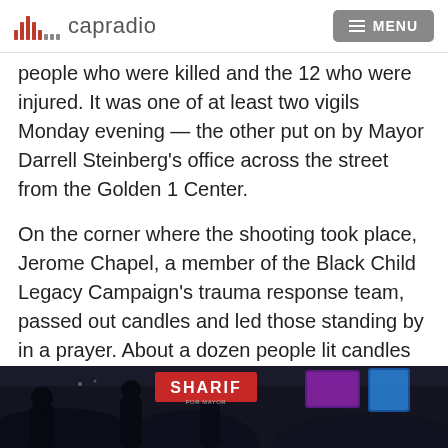capradio  MENU
people who were killed and the 12 who were injured. It was one of at least two vigils Monday evening — the other put on by Mayor Darrell Steinberg's office across the street from the Golden 1 Center.
On the corner where the shooting took place, Jerome Chapel, a member of the Black Child Legacy Campaign's trauma response team, passed out candles and led those standing by in a prayer. About a dozen people lit candles for Sergio Harris, the 38-year-old man who was killed during the shooting.
[Figure (photo): Dark nighttime crowd scene with a red SHARIF sign visible, people silhouetted against colorful neon lights]